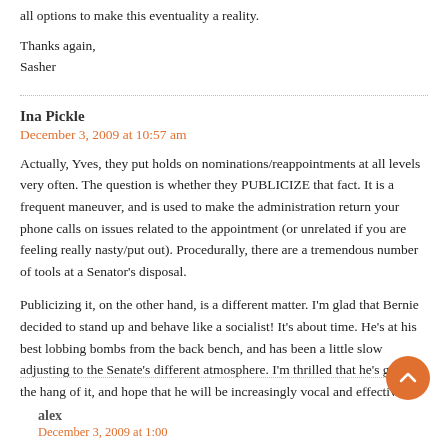all options to make this eventuality a reality.
Thanks again,
Sasher
Ina Pickle
December 3, 2009 at 10:57 am
Actually, Yves, they put holds on nominations/reappointments at all levels very often. The question is whether they PUBLICIZE that fact. It is a frequent maneuver, and is used to make the administration return your phone calls on issues related to the appointment (or unrelated if you are feeling really nasty/put out). Procedurally, there are a tremendous number of tools at a Senator's disposal.
Publicizing it, on the other hand, is a different matter. I'm glad that Bernie decided to stand up and behave like a socialist! It's about time. He's at his best lobbing bombs from the back bench, and has been a little slow adjusting to the Senate's different atmosphere. I'm thrilled that he's getting the hang of it, and hope that he will be increasingly vocal and effective.
alex
December 3, 2009 at 1:00...